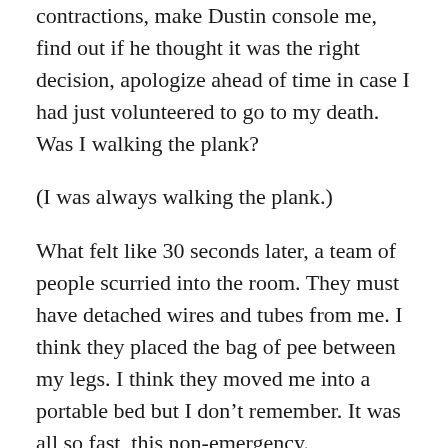contractions, make Dustin console me, find out if he thought it was the right decision, apologize ahead of time in case I had just volunteered to go to my death. Was I walking the plank?
(I was always walking the plank.)
What felt like 30 seconds later, a team of people scurried into the room. They must have detached wires and tubes from me. I think they placed the bag of pee between my legs. I think they moved me into a portable bed but I don’t remember. It was all so fast, this non-emergency.
No one gave my family any instructions, but they stood up as I got wheeled out and I imagine, rushed to grab their things. They left my purple clogs in the corner